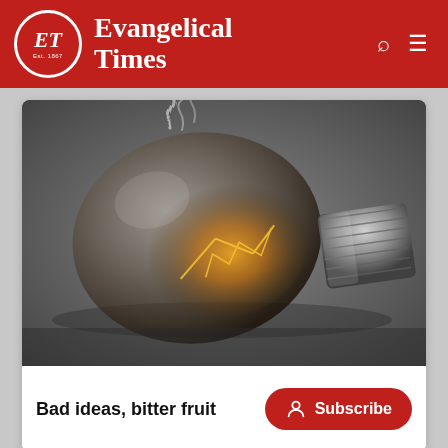ET Evangelical Times — Est. 1867
[Figure (photo): A burnt-out incandescent light bulb lying on its side on a grey surface, with wisps of smoke rising from the broken filament. The bulb glows faintly orange inside around the filament structure. The metal screw base is visible on the right.]
Bad ideas, bitter fruit